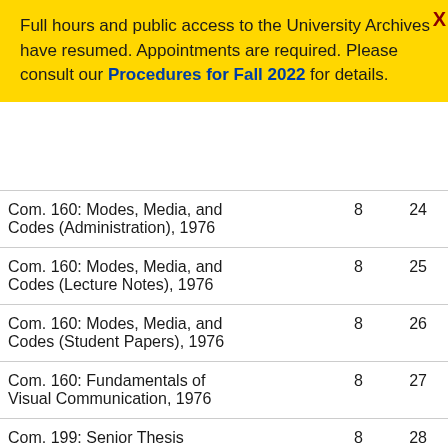Full hours and public access to the University Archives have resumed. Appointments are required. Please consult our Procedures for Fall 2022 for details.
|  |  |  |
| --- | --- | --- |
| Com. 160: Modes, Media, and Codes (Administration), 1976 | 8 | 24 |
| Com. 160: Modes, Media, and Codes (Lecture Notes), 1976 | 8 | 25 |
| Com. 160: Modes, Media, and Codes (Student Papers), 1976 | 8 | 26 |
| Com. 160: Fundamentals of Visual Communication, 1976 | 8 | 27 |
| Com. 199: Senior Thesis (Student Papers), 1977 | 8 | 28 |
| Com. 240: General Honors ... | 8 | 29 |